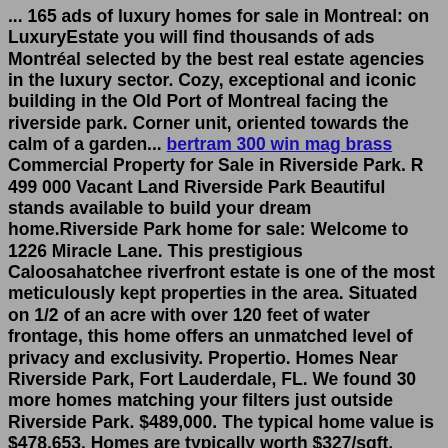... 165 ads of luxury homes for sale in Montreal: on LuxuryEstate you will find thousands of ads Montréal selected by the best real estate agencies in the luxury sector. Cozy, exceptional and iconic building in the Old Port of Montreal facing the riverside park. Corner unit, oriented towards the calm of a garden... bertram 300 win mag brass Commercial Property for Sale in Riverside Park. R 499 000 Vacant Land Riverside Park Beautiful stands available to build your dream home.Riverside Park home for sale: Welcome to 1226 Miracle Lane. This prestigious Caloosahatchee riverfront estate is one of the most meticulously kept properties in the area. Situated on 1/2 of an acre with over 120 feet of water frontage, this home offers an unmatched level of privacy and exclusivity. Propertio. Homes Near Riverside Park, Fort Lauderdale, FL. We found 30 more homes matching your filters just outside Riverside Park. $489,000. The typical home value is $478,653. Homes are typically worth $327/sqft. Trends and